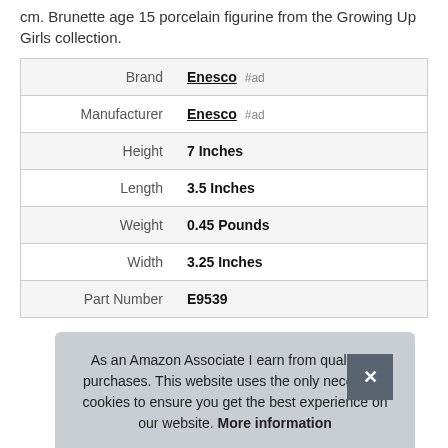cm. Brunette age 15 porcelain figurine from the Growing Up Girls collection.
|  |  |
| --- | --- |
| Brand | Enesco #ad |
| Manufacturer | Enesco #ad |
| Height | 7 Inches |
| Length | 3.5 Inches |
| Weight | 0.45 Pounds |
| Width | 3.25 Inches |
| Part Number | E9539 |
As an Amazon Associate I earn from qualifying purchases. This website uses the only necessary cookies to ensure you get the best experience on our website. More information